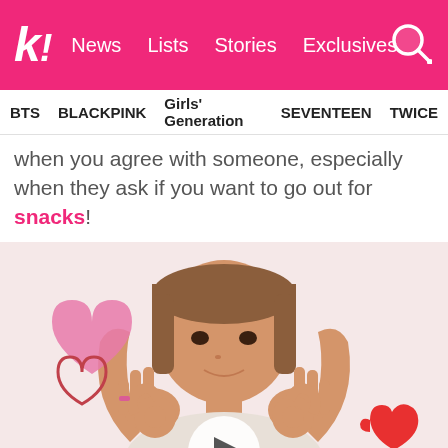k! News Lists Stories Exclusives
BTS BLACKPINK Girls' Generation SEVENTEEN TWICE
when you agree with someone, especially when they ask if you want to go out for snacks!
[Figure (photo): Young woman making OK gestures with both hands in front of her face, with decorative heart graphics. Pink graffiti hearts on left, red mitten heart on right. Video play button overlay at bottom center.]